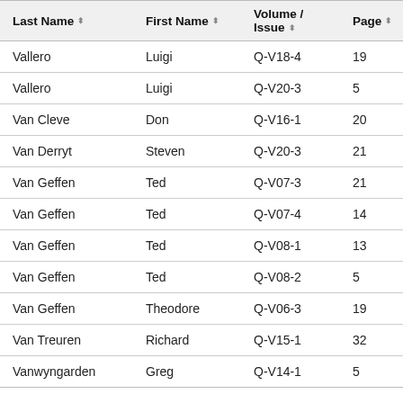| Last Name | First Name | Volume / Issue | Page |
| --- | --- | --- | --- |
| Vallero | Luigi | Q-V18-4 | 19 |
| Vallero | Luigi | Q-V20-3 | 5 |
| Van Cleve | Don | Q-V16-1 | 20 |
| Van Derryt | Steven | Q-V20-3 | 21 |
| Van Geffen | Ted | Q-V07-3 | 21 |
| Van Geffen | Ted | Q-V07-4 | 14 |
| Van Geffen | Ted | Q-V08-1 | 13 |
| Van Geffen | Ted | Q-V08-2 | 5 |
| Van Geffen | Theodore | Q-V06-3 | 19 |
| Van Treuren | Richard | Q-V15-1 | 32 |
| Vanwyngarden | Greg | Q-V14-1 | 5 |